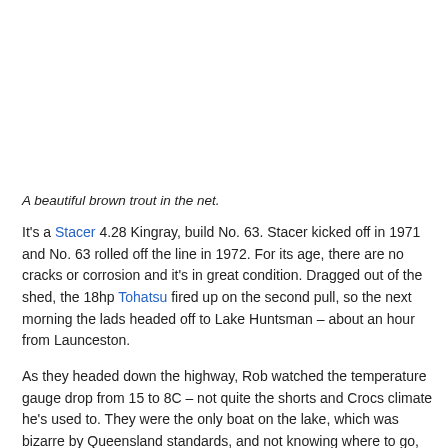[Figure (photo): Photo of a beautiful brown trout in a fishing net (image area at top of page)]
A beautiful brown trout in the net.
It's a Stacer 4.28 Kingray, build No. 63. Stacer kicked off in 1971 and No. 63 rolled off the line in 1972. For its age, there are no cracks or corrosion and it's in great condition. Dragged out of the shed, the 18hp Tohatsu fired up on the second pull, so the next morning the lads headed off to Lake Huntsman – about an hour from Launceston.
As they headed down the highway, Rob watched the temperature gauge drop from 15 to 8C – not quite the shorts and Crocs climate he's used to. They were the only boat on the lake, which was bizarre by Queensland standards, and not knowing where to go, they just